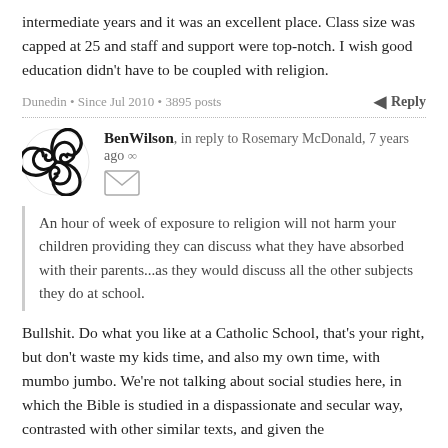intermediate years and it was an excellent place. Class size was capped at 25 and staff and support were top-notch. I wish good education didn't have to be coupled with religion.
Dunedin • Since Jul 2010 • 3895 posts
Reply
BenWilson, in reply to Rosemary McDonald, 7 years ago ∞
An hour of week of exposure to religion will not harm your children providing they can discuss what they have absorbed with their parents...as they would discuss all the other subjects they do at school.
Bullshit. Do what you like at a Catholic School, that's your right, but don't waste my kids time, and also my own time, with mumbo jumbo. We're not talking about social studies here, in which the Bible is studied in a dispassionate and secular way, contrasted with other similar texts, and given the